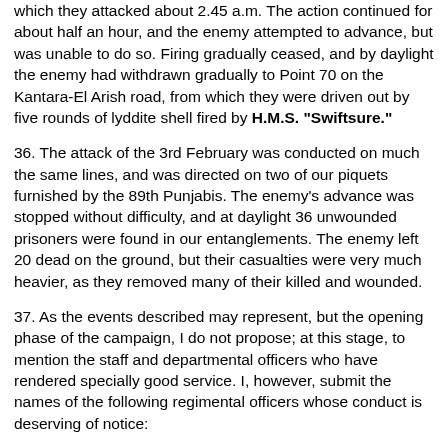which they attacked about 2.45 a.m. The action continued for about half an hour, and the enemy attempted to advance, but was unable to do so. Firing gradually ceased, and by daylight the enemy had withdrawn gradually to Point 70 on the Kantara-El Arish road, from which they were driven out by five rounds of lyddite shell fired by H.M.S. "Swiftsure."
36. The attack of the 3rd February was conducted on much the same lines, and was directed on two of our piquets furnished by the 89th Punjabis. The enemy's advance was stopped without difficulty, and at daylight 36 unwounded prisoners were found in our entanglements. The enemy left 20 dead on the ground, but their casualties were very much heavier, as they removed many of their killed and wounded.
37. As the events described may represent, but the opening phase of the campaign, I do not propose; at this stage, to mention the staff and departmental officers who have rendered specially good service. I, however, submit the names of the following regimental officers whose conduct is deserving of notice:
(Army list)
38. I submit a list of the non-commissioned officers and men whose names have been brought to notice for gallant conduct, with particulars of the services they have rendered. (not included here)